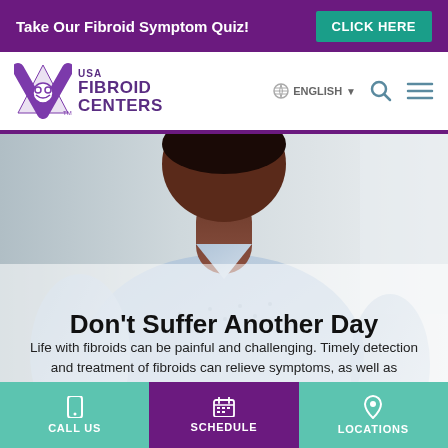Take Our Fibroid Symptom Quiz! CLICK HERE
[Figure (logo): USA Fibroid Centers logo with purple stylized check mark and fibroid icon]
ENGLISH
[Figure (photo): Black woman in light blue patterned sleeveless top, seated, cropped to show neck and torso]
Don’t Suffer Another Day
Life with fibroids can be painful and challenging. Timely detection and treatment of fibroids can relieve symptoms, as well as
CALL US   SCHEDULE   LOCATIONS